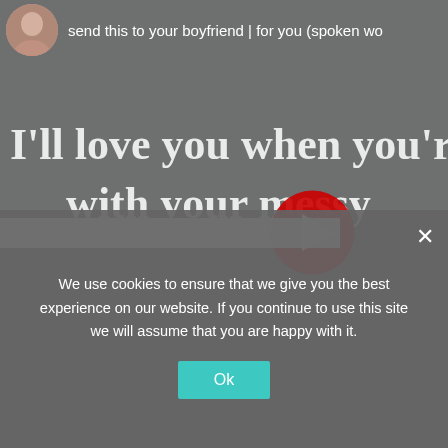[Figure (screenshot): A YouTube video thumbnail showing a grey background with white serif lyric text reading "I'll love you when you're with your messy" (text cut off). A YouTube play button (red with white triangle) is overlaid in the center-right. At the top is a circular avatar of a person and the title text "send this to your boyfriend | for you (spoken wo..." partially visible.]
We use cookies to ensure that we give you the best experience on our website. If you continue to use this site we will assume that you are happy with it.